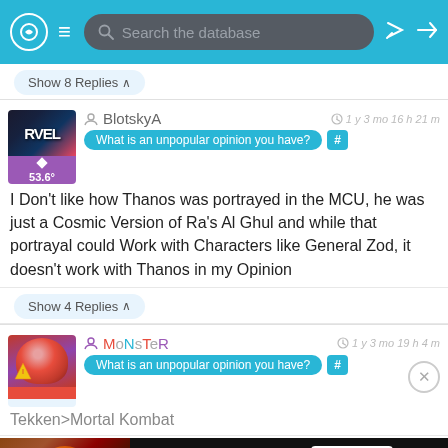Search the database
Show 8 Replies ^
BlotskyA — 1 y 3 mo 16 h 21 m
What is an unpopular opinion you have? #
I Don't like how Thanos was portrayed in the MCU, he was just a Cosmic Version of Ra's Al Ghul and while that portrayal could Work with Characters like General Zod, it doesn't work with Thanos in my Opinion
Show 4 Replies ^
MoNsTeR — 1 y 3 mo 19 h 4 m
What is an unpopular opinion you have? #
Tekken>Mortal Kombat
[Figure (screenshot): Seamless food ordering advertisement banner with pizza image, seamless logo in red, and ORDER NOW button]